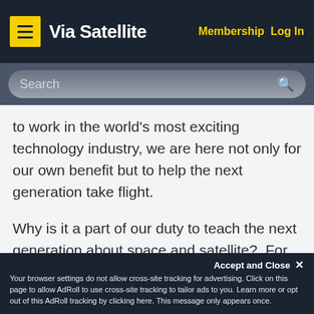Via Satellite | Membership Log In
to work in the world's most exciting technology industry, we are here not only for our own benefit but to help the next generation take flight.
Why is it a part of our duty to teach the next generation about space and satellite?  For one thing, we owe it to the Apollo generation, the people who grew up in the '60s and emerged inspired by the challenge of space.  They are the
Accept and Close ✕
Your browser settings do not allow cross-site tracking for advertising. Click on this page to allow AdRoll to use cross-site tracking to tailor ads to you. Learn more or opt out of this AdRoll tracking by clicking here. This message only appears once.